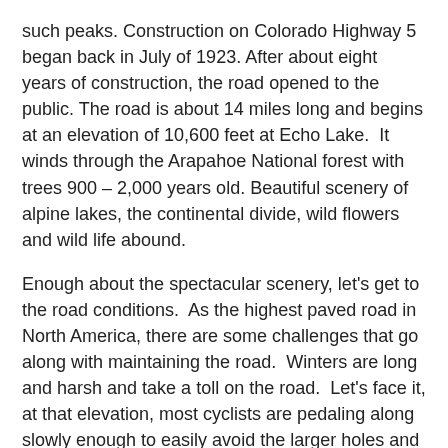such peaks. Construction on Colorado Highway 5 began back in July of 1923. After about eight years of construction, the road opened to the public. The road is about 14 miles long and begins at an elevation of 10,600 feet at Echo Lake.  It winds through the Arapahoe National forest with trees 900 – 2,000 years old. Beautiful scenery of alpine lakes, the continental divide, wild flowers and wild life abound.
Enough about the spectacular scenery, let's get to the road conditions.  As the highest paved road in North America, there are some challenges that go along with maintaining the road.  Winters are long and harsh and take a toll on the road.  Let's face it, at that elevation, most cyclists are pedaling along slowly enough to easily avoid the larger holes and cracks on the ascent.  And there are many cracks in the road, particularly from mile 9 to the summit.  There are also some wheel eating sized holes along the way.
However, on the descent, these bumps, cracks, and holes